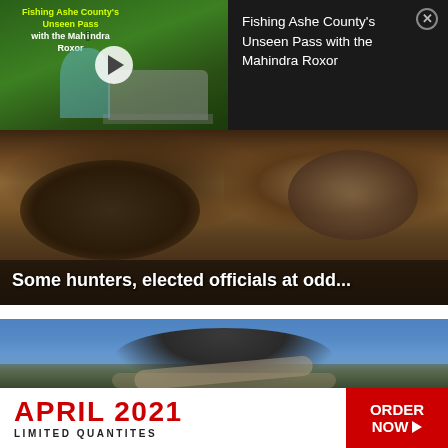[Figure (screenshot): Video overlay panel showing a thumbnail of fishing video with Mahindra Roxor vehicle, play button, and text info panel with close button]
Fishing Ashe County's Unseen Pass with the Mahindra Roxor
[Figure (photo): Close-up photo of a squirrel on forest floor with leaves]
Some hunters, elected officials at odd...
[Figure (photo): Man holding a large fish toward the camera against a blue sky background]
[Figure (infographic): White banner advertisement: APRIL 2021 in red bold text, LIMITED QUANTITES in black, ORDER NOW button in red on the right]